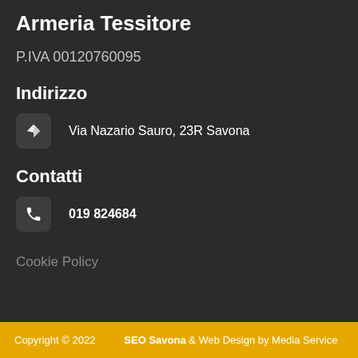Armeria Tessitore
P.IVA 00120760095
Indirizzo
Via Nazario Sauro, 23R Savona
Contatti
019 824684
Cookie Policy
Copyright © 2022   SEO Savona & Web Design by Media Service